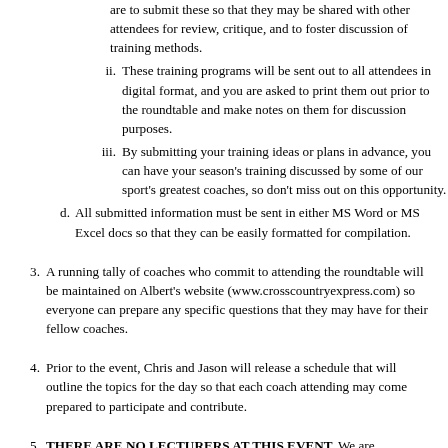are to submit these so that they may be shared with other attendees for review, critique, and to foster discussion of training methods.
ii. These training programs will be sent out to all attendees in digital format, and you are asked to print them out prior to the roundtable and make notes on them for discussion purposes.
iii. By submitting your training ideas or plans in advance, you can have your season's training discussed by some of our sport's greatest coaches, so don't miss out on this opportunity.
d. All submitted information must be sent in either MS Word or MS Excel docs so that they can be easily formatted for compilation.
3. A running tally of coaches who commit to attending the roundtable will be maintained on Albert's website (www.crosscountryexpress.com) so everyone can prepare any specific questions that they may have for their fellow coaches.
4. Prior to the event, Chris and Jason will release a schedule that will outline the topics for the day so that each coach attending may come prepared to participate and contribute.
5. THERE ARE NO LECTURERS AT THIS EVENT. We are